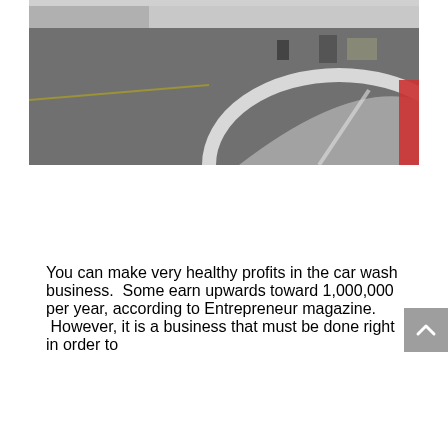[Figure (photo): Aerial or ground-level view of a car wash facility parking lot with asphalt, white painted curb/island, and a vehicle visible at the right edge]
You can make very healthy profits in the car wash business.  Some earn upwards toward 1,000,000 per year, according to Entrepreneur magazine.  However, it is a business that must be done right in order to